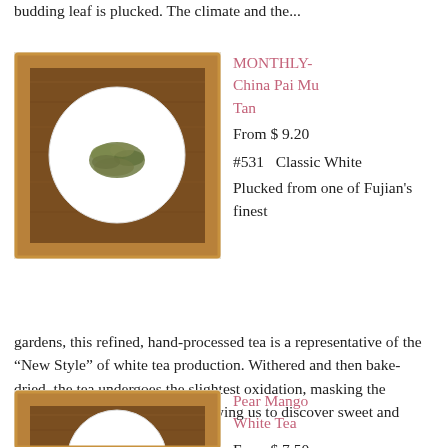budding leaf is plucked. The climate and the...
[Figure (photo): A wooden framed box with a white circular plate holding dried tea leaves, viewed from above.]
MONTHLY-China Pai Mu Tan
From $ 9.20
#531   Classic White
Plucked from one of Fujian’s finest gardens, this refined, hand-processed tea is a representative of the “New Style” of white tea production. Withered and then bake-dried, the tea undergoes the slightest oxidation, masking the “greener” vegetal notes and allowing us to discover sweet and woody undertones...
[Figure (photo): A wooden framed box with a white circular plate, partially visible, holding tea.]
Pear Mango White Tea
From $ 7.50